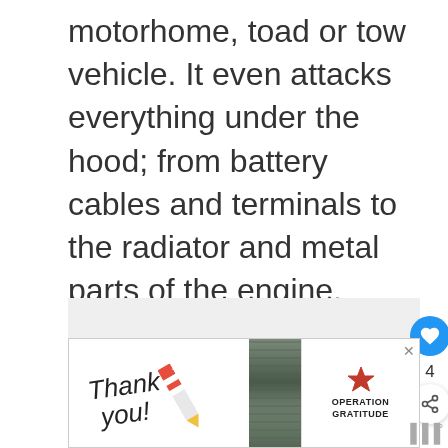motorhome, toad or tow vehicle. It even attacks everything under the hood; from battery cables and terminals to the radiator and metal parts of the engine.
[Figure (screenshot): Web article page fragment showing article body text, social interaction buttons (like heart button with count of 4, share button), a 'What's Next' recommendation panel showing 'Protect Your RV from...' with a globe thumbnail image, and an advertisement banner at the bottom featuring 'Thank you!' handwritten text with a star-striped pencil, military personnel photo, and Operation Gratitude logo. A weather/temperature widget is partially visible at the bottom right.]